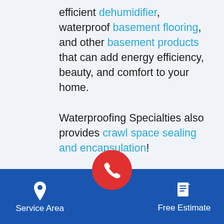efficient dehumidifier, waterproof basement flooring, and other basement products that can add energy efficiency, beauty, and comfort to your home.

Waterproofing Specialties also provides crawl space sealing and encapsulation!

When you decide it's time to waterproof the basement and install a sump pump in
[Figure (infographic): Blue footer navigation bar with Service Area (pin icon) on left, red circular phone button in center, and Free Estimate (document icon) on right, all on blue background]